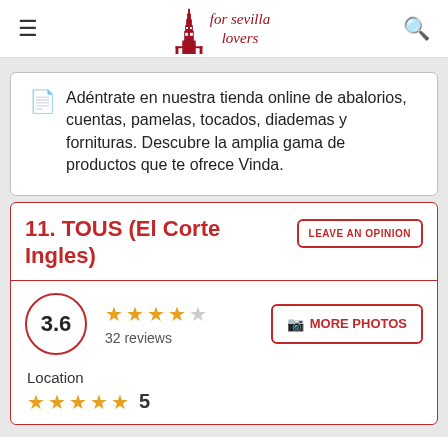for sevilla lovers
Adéntrate en nuestra tienda online de abalorios, cuentas, pamelas, tocados, diademas y fornituras. Descubre la amplia gama de productos que te ofrece Vinda.
11. TOUS (El Corte Ingles)
[Figure (other): Rating display: 3.6 score in circle, 4 gold stars and 1 grey star, 32 reviews, MORE PHOTOS button]
Location
[Figure (other): Location rating: 5 gold stars, score 5]